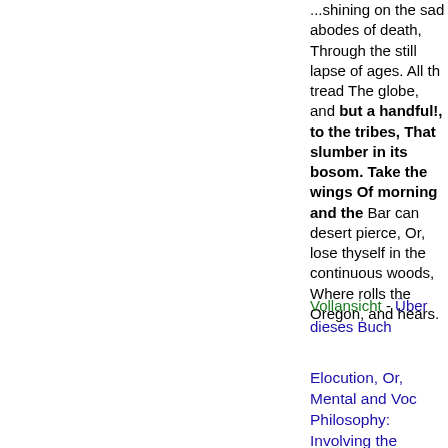...shining on the sad abodes of death, Through the still lapse of ages. All th tread The globe, and but a handful!, to the tribes, That slumber in its bosom. Take the wings Of morning and the Bar can desert pierce, Or, lose thyself in the continuous woods, Where rolls the Oregon, and hears.
Vollansicht - Über dieses Buch
[Figure (photo): Small thumbnail of a book cover/title page]
Elocution, Or, Mental and Voc Philosophy: Involving the Principles of ...
C. P. Bronson - 184 - 384 Seiten
...but a lmnflfull, 10 the tribes, That